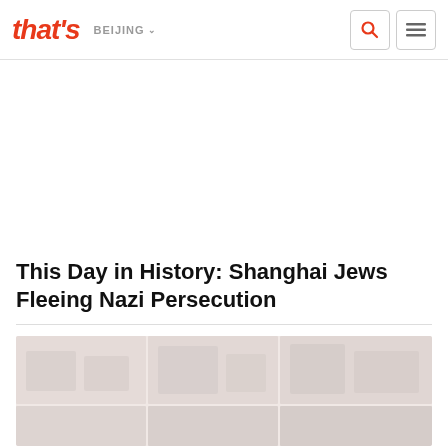that's BEIJING
This Day in History: Shanghai Jews Fleeing Nazi Persecution
[Figure (photo): Historical photo collage showing Shanghai Jews fleeing Nazi persecution, displayed as a grid of faded sepia-toned archival photographs]